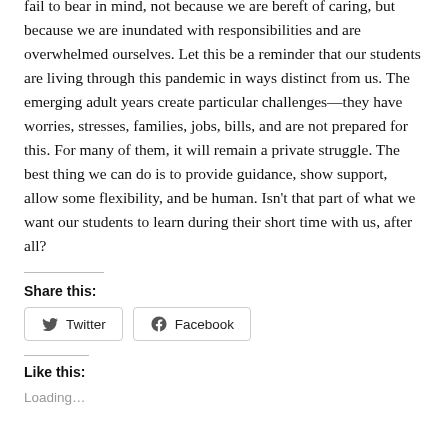fail to bear in mind, not because we are bereft of caring, but because we are inundated with responsibilities and are overwhelmed ourselves. Let this be a reminder that our students are living through this pandemic in ways distinct from us. The emerging adult years create particular challenges—they have worries, stresses, families, jobs, bills, and are not prepared for this. For many of them, it will remain a private struggle. The best thing we can do is to provide guidance, show support, allow some flexibility, and be human. Isn't that part of what we want our students to learn during their short time with us, after all?
Share this:
[Figure (other): Twitter share button]
[Figure (other): Facebook share button]
Like this:
Loading...